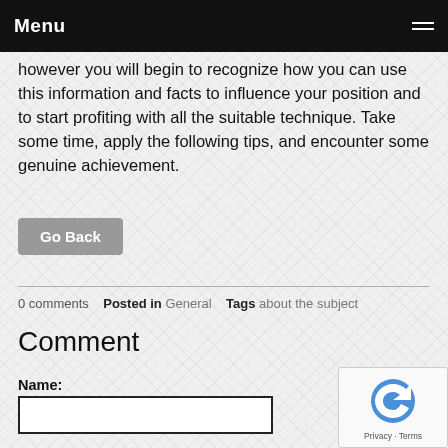Menu
however you will begin to recognize how you can use this information and facts to influence your position and to start profiting with all the suitable technique. Take some time, apply the following tips, and encounter some genuine achievement.
Go Back
0 comments   Posted in General   Tags about the subject
Comment
Name: